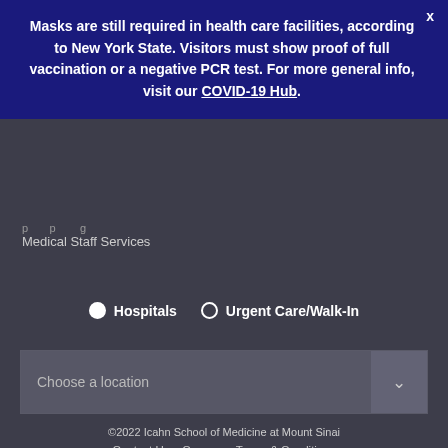Masks are still required in health care facilities, according to New York State. Visitors must show proof of full vaccination or a negative PCR test. For more general info, visit our COVID-19 Hub.
Medical Staff Services
Hospitals   Urgent Care/Walk-In
Choose a location
©2022 Icahn School of Medicine at Mount Sinai
Contact Us   Careers   Terms & Conditions
Privacy Policy   HIPAA Privacy Practices   Compliance